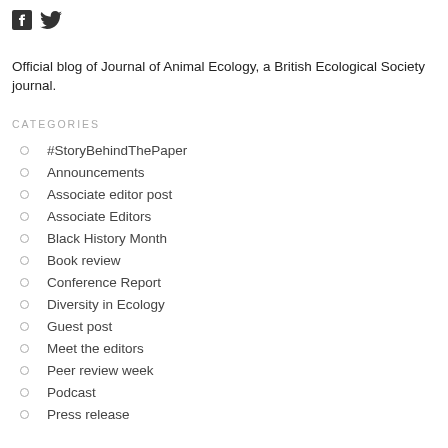[Figure (logo): Facebook and Twitter social media icons]
Official blog of Journal of Animal Ecology, a British Ecological Society journal.
CATEGORIES
#StoryBehindThePaper
Announcements
Associate editor post
Associate Editors
Black History Month
Book review
Conference Report
Diversity in Ecology
Guest post
Meet the editors
Peer review week
Podcast
Press release